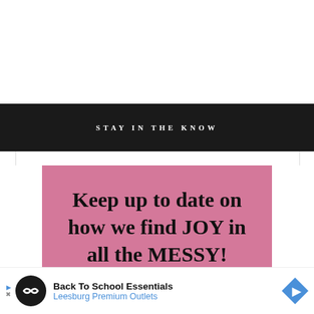STAY IN THE KNOW
[Figure (infographic): Pink background box with large serif text reading: Keep up to date on how we find JOY in all the MESSY!]
[Figure (infographic): Advertisement bar: Back To School Essentials - Leesburg Premium Outlets, with circular logo icon and blue diamond arrow icon]